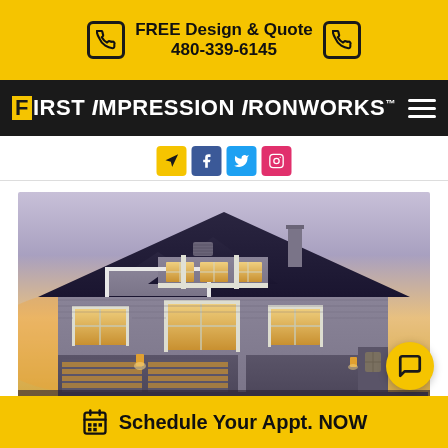FREE Design & Quote 480-339-6145
[Figure (logo): First Impression Ironworks logo with yellow F bracket on black background, hamburger menu icon on right]
[Figure (photo): Exterior photo of a two-story suburban house with gray siding, dark shingle roof, white trim windows, two-car garage, warm interior lighting, dusk sky]
Schedule Your Appt. NOW